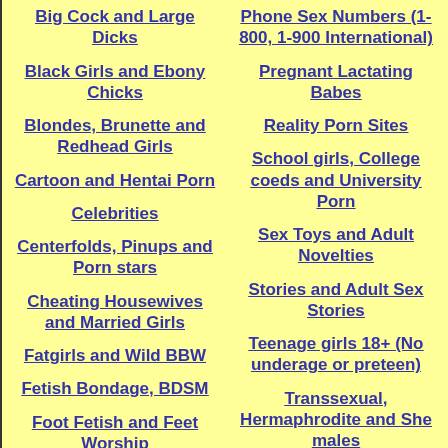Big Cock and Large Dicks
Black Girls and Ebony Chicks
Blondes, Brunette and Redhead Girls
Cartoon and Hentai Porn
Celebrities
Centerfolds, Pinups and Porn stars
Cheating Housewives and Married Girls
Fatgirls and Wild BBW
Fetish Bondage, BDSM
Foot Fetish and Feet Worship
Phone Sex Numbers (1-800, 1-900 International)
Pregnant Lactating Babes
Reality Porn Sites
School girls, College coeds and University Porn
Sex Toys and Adult Novelties
Stories and Adult Sex Stories
Teenage girls 18+ (No underage or preteen)
Transsexual, Hermaphrodite and She males
Voyeur Sites, Upskirts, Peeking and Spying
Woman Porno for the Ladies
Erotic Perforation Pills...